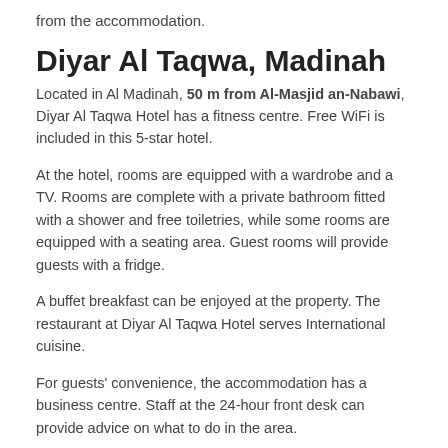from the accommodation.
Diyar Al Taqwa, Madinah
Located in Al Madinah, 50 m from Al-Masjid an-Nabawi, Diyar Al Taqwa Hotel has a fitness centre. Free WiFi is included in this 5-star hotel.
At the hotel, rooms are equipped with a wardrobe and a TV. Rooms are complete with a private bathroom fitted with a shower and free toiletries, while some rooms are equipped with a seating area. Guest rooms will provide guests with a fridge.
A buffet breakfast can be enjoyed at the property. The restaurant at Diyar Al Taqwa Hotel serves International cuisine.
For guests' convenience, the accommodation has a business centre. Staff at the 24-hour front desk can provide advice on what to do in the area.